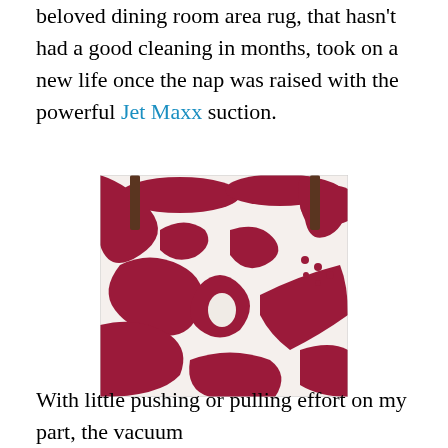beloved dining room area rug, that hasn't had a good cleaning in months, took on a new life once the nap was raised with the powerful Jet Maxx suction.
[Figure (photo): Close-up photo of a red and white patterned area rug with bold floral/abstract design, showing dining room chair legs in the background.]
With little pushing or pulling effort on my part, the vacuum